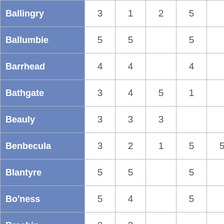| Place | Col1 | Col2 | Col3 | Col4 | Col5 |
| --- | --- | --- | --- | --- | --- |
| Ballingry | 3 | 1 | 2 | 5 |  |
| Ballumbie | 5 | 5 |  | 5 |  |
| Barrhead | 4 | 4 |  | 4 |  |
| Bathgate | 3 | 4 | 5 | 1 |  |
| Beauly | 3 | 3 | 3 |  |  |
| Benbecula | 3 | 2 | 1 | 5 | 5 |
| Blantyre | 5 | 5 |  | 5 |  |
| Bo'ness | 5 | 4 |  | 5 |  |
| Brechin | 3 | 3 |  |  |  |
| Bridge of Earn | 2 |  |  | 2 |  |
| Broadford | 3 | 2 | 2 | 4 | 4 |